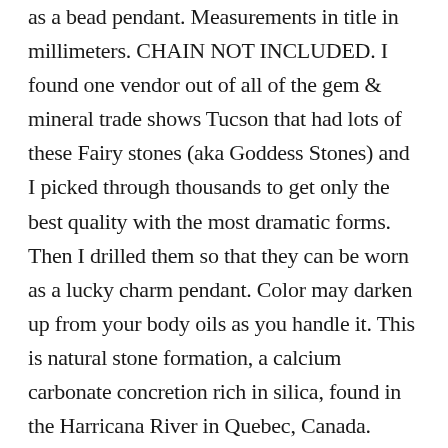as a bead pendant. Measurements in title in millimeters. CHAIN NOT INCLUDED. I found one vendor out of all of the gem & mineral trade shows Tucson that had lots of these Fairy stones (aka Goddess Stones) and I picked through thousands to get only the best quality with the most dramatic forms. Then I drilled them so that they can be worn as a lucky charm pendant. Color may darken up from your body oils as you handle it. This is natural stone formation, a calcium carbonate concretion rich in silica, found in the Harricana River in Quebec, Canada. Some of the native Algonquin people of the area and many others believe that these stones protect against bad spirits and bring good health and prosperity. Geologically they are very young and formed in recent millenia. Little lines and squiggles on the back are thought to be the fossil remains of the roots of a shallow swamp plant, probably horsetail grass, around